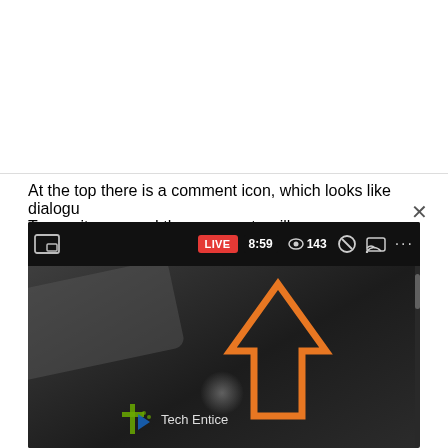At the top there is a comment icon, which looks like dialogue. Tap on it once and the comments will go away.
[Figure (screenshot): Screenshot of a mobile live video player interface showing 'LIVE 8:59' badge, viewer count '143', comment icon (with orange upward arrow annotation), cast icon, and more options. The Tech Entice watermark logo is visible at the bottom of the video frame.]